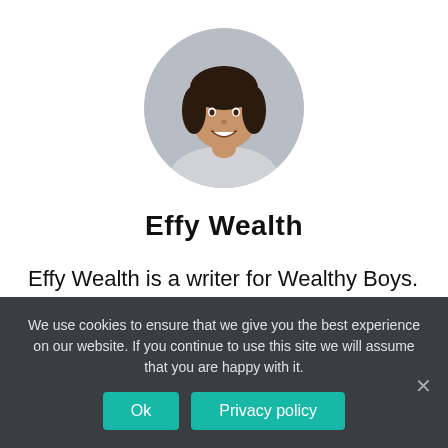[Figure (photo): Circular profile photo of a young woman with dark hair, smiling, on a light gray background.]
Effy Wealth
Effy Wealth is a writer for Wealthy Boys. She is a young Ukrainian girl from Kyiv, who is currently traveling around the world. Effy has a big passion for
We use cookies to ensure that we give you the best experience on our website. If you continue to use this site we will assume that you are happy with it.
Ok
Privacy policy